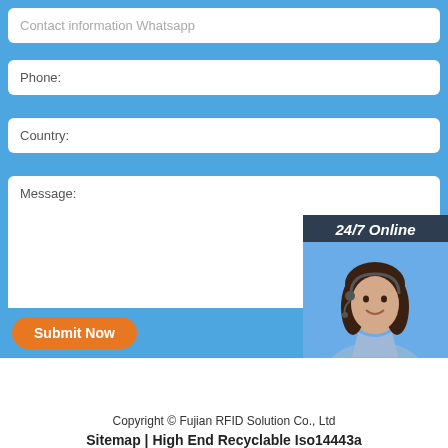Contact information Whatsapp
Phone:
Country:
Message:
24/7 Online
[Figure (photo): Customer service representative wearing headset, smiling]
Click here for free chat !
QUOTATION
Submit Now
[Figure (logo): TOP logo with orange dots arranged in arc above the word TOP in orange]
Copyright © Fujian RFID Solution Co., Ltd
Sitemap | High End Recyclable Iso14443a